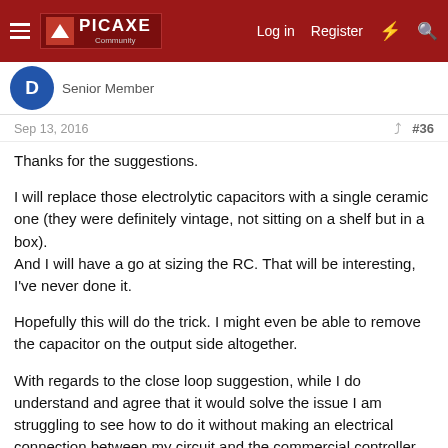PICAXE Community — Log in | Register
Senior Member
Sep 13, 2016   #36
Thanks for the suggestions.
I will replace those electrolytic capacitors with a single ceramic one (they were definitely vintage, not sitting on a shelf but in a box).
And I will have a go at sizing the RC. That will be interesting, I've never done it.
Hopefully this will do the trick. I might even be able to remove the capacitor on the output side altogether.
With regards to the close loop suggestion, while I do understand and agree that it would solve the issue I am struggling to see how to do it without making an electrical connection between my circuit and the commercial controller, which is why the VTL5C6 had been suggested in the first place. Am I missing something?